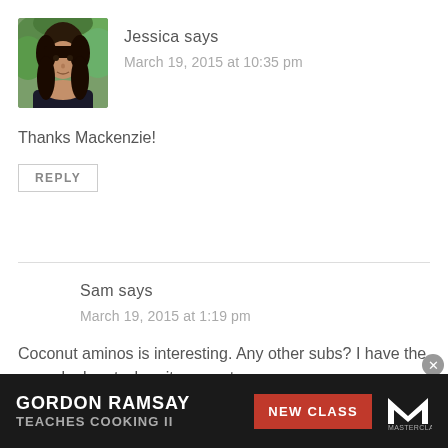[Figure (photo): Avatar photo of Jessica - woman with dark wavy hair outdoors in green foliage background]
Jessica says
March 19, 2015 at 10:35 pm
Thanks Mackenzie!
REPLY
Sam says
March 19, 2015 at 1:19 pm
Coconut aminos is interesting. Any other subs? I have the same look-out when it comes to soy.
[Figure (screenshot): Advertisement banner: Gordon Ramsay Teaches Cooking II - New Class - MasterClass]